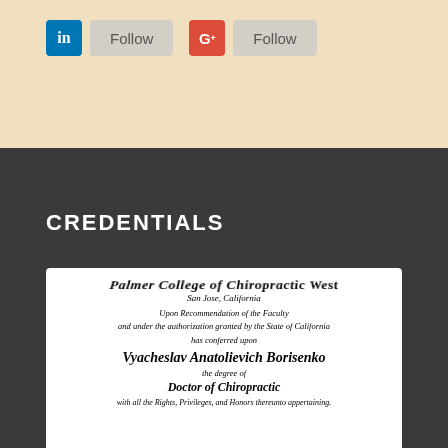[Figure (screenshot): LinkedIn Follow button with blue LinkedIn icon]
[Figure (screenshot): Google+ Follow button with red G+ icon]
CREDENTIALS
[Figure (photo): Palmer College of Chiropractic West diploma certificate for Vyacheslav Anatolievich Borisenko, Doctor of Chiropractic, San Jose, California]